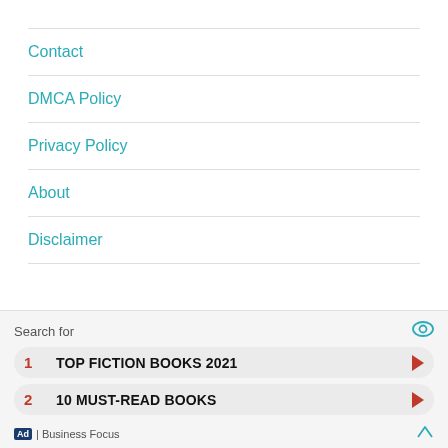Contact
DMCA Policy
Privacy Policy
About
Disclaimer
[Figure (other): Ad widget with search results: 1. TOP FICTION BOOKS 2021, 2. 10 MUST-READ BOOKS. Footer: Ad | Business Focus]